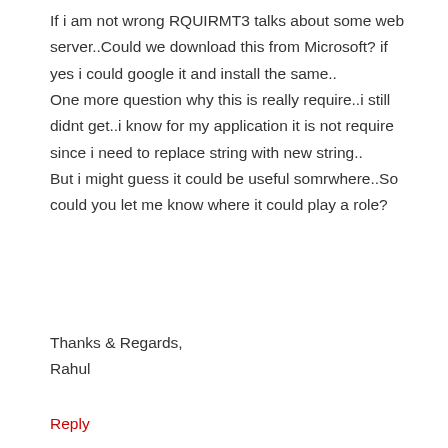If i am not wrong RQUIRMT3 talks about some web server..Could we download this from Microsoft? if yes i could google it and install the same.. One more question why this is really require..i still didnt get..i know for my application it is not require since i need to replace string with new string.. But i might guess it could be useful somrwhere..So could you let me know where it could play a role?
Thanks & Regards,
Rahul
Reply
Rahul says: